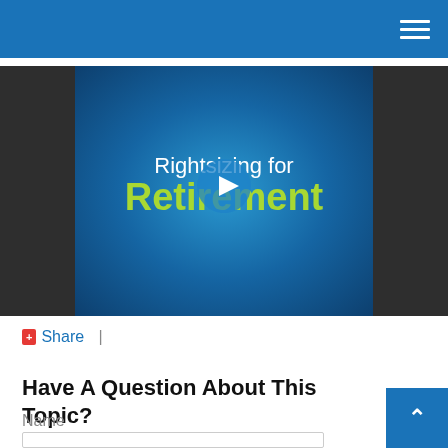Navigation header with hamburger menu
[Figure (screenshot): Video thumbnail for 'Rightsizing for Retirement' with a play button overlay. White text reads 'Rightsizing for' and green bold text reads 'Retirement' on a blue gradient background, with dark gray bars on left and right.]
Share |
Have A Question About This Topic?
Name